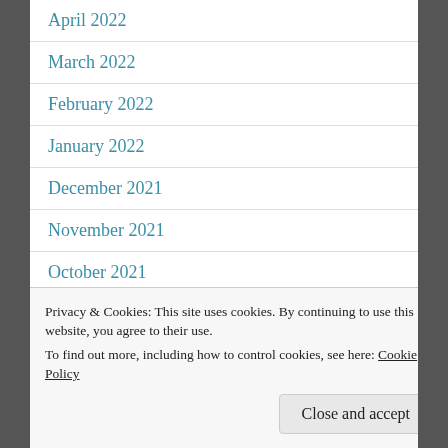April 2022
March 2022
February 2022
January 2022
December 2021
November 2021
October 2021
Privacy & Cookies: This site uses cookies. By continuing to use this website, you agree to their use.
To find out more, including how to control cookies, see here: Cookie Policy
Close and accept